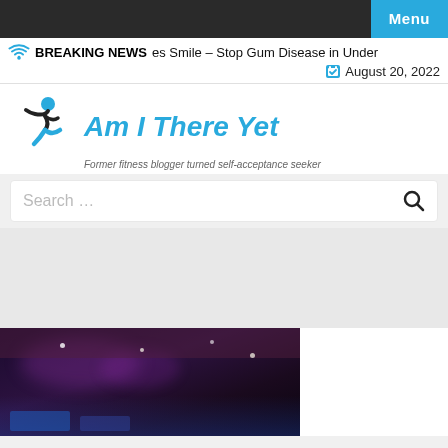Menu
BREAKING NEWS  es Smile – Stop Gum Disease in Under  August 20, 2022
[Figure (logo): Am I There Yet blog logo with running figure icon and tagline: Former fitness blogger turned self-acceptance seeker]
Search …
[Figure (photo): Dark interior photo with purple/magenta lighting, appears to be a gym or nightclub ceiling]
[Figure (other): White/blank content box on the right side]